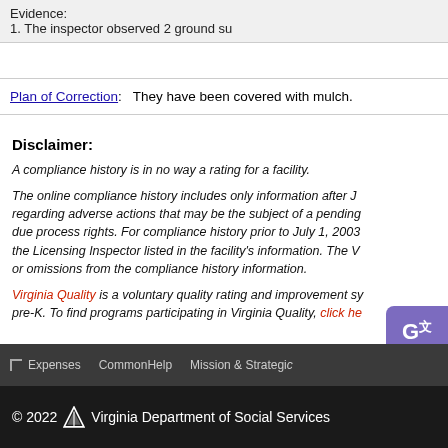Evidence:
1. The inspector observed 2 ground su
| Plan of Correction | Description |
| --- | --- |
| Plan of Correction: | They have been covered with mulch. |
Disclaimer:
A compliance history is in no way a rating for a facility.
The online compliance history includes only information after J... regarding adverse actions that may be the subject of a pending... due process rights. For compliance history prior to July 1, 2003... the Licensing Inspector listed in the facility's information. The V... or omissions from the compliance history information.
Virginia Quality is a voluntary quality rating and improvement sy... pre-K. To find programs participating in Virginia Quality, click he
Expenses   CommonHelp   Mission & Strategic
© 2022 Virginia Department of Social Services